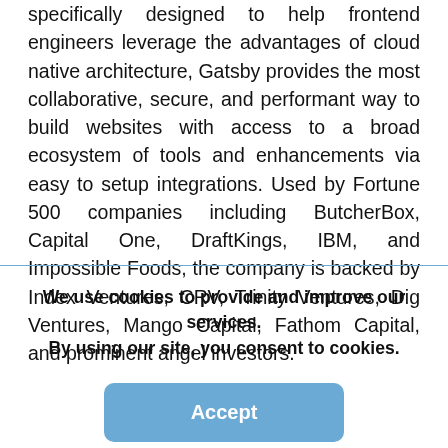specifically designed to help frontend engineers leverage the advantages of cloud native architecture, Gatsby provides the most collaborative, secure, and performant way to build websites with access to a broad ecosystem of tools and enhancements via easy to setup integrations. Used by Fortune 500 companies including ButcherBox, Capital One, DraftKings, IBM, and Impossible Foods, the company is backed by Index Ventures, CRV, Trinity Ventures, Dig Ventures, Mango Capital, Fathom Capital, and prominent angel investors.
We use cookies to provide and improve our services. By using our site, you consent to cookies.
Accept
Learn more